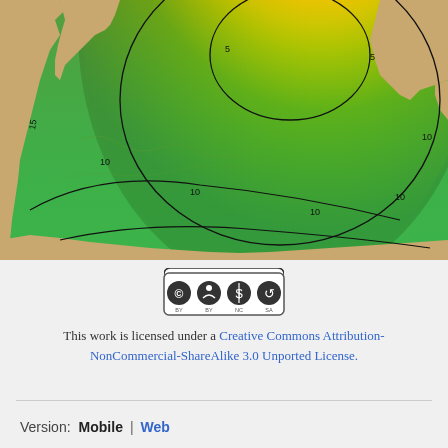[Figure (map): Topographic/bathymetric relief map showing seismic wave travel time contours (labeled 5, 10, 15 minutes) radiating from an epicenter in the Indian Ocean region, with color gradient from red/orange at center to yellow and green at outer areas, overlaid on terrain with land masses shown in tan/brown]
[Figure (logo): Creative Commons license badge showing CC BY NC SA icons in a rounded rectangle]
This work is licensed under a Creative Commons Attribution-NonCommercial-ShareAlike 3.0 Unported License.
Version: Mobile | Web